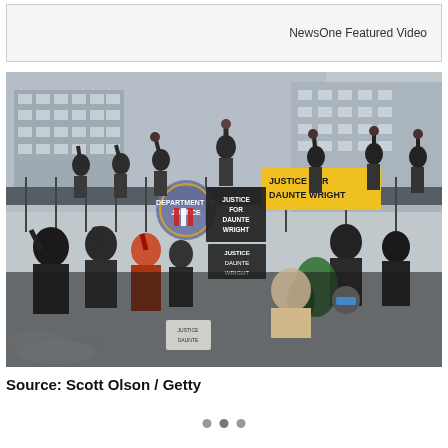NewsOne Featured Video
[Figure (photo): Protesters with fists raised standing on a wall in front of an FBI building, holding signs reading 'Justice for Daunte Wright' and similar messages. Large crowd below also with fists raised, wearing masks and dark clothing.]
Source: Scott Olson / Getty